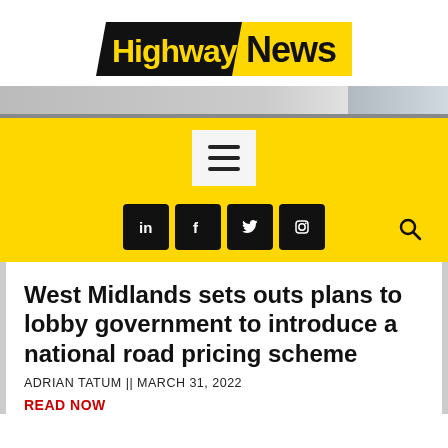[Figure (logo): Highways News logo — black parallelogram with white 'Highways' text in yellow, yellow parallelogram with black 'News' text]
[Figure (screenshot): Website navigation header: yellow background with hamburger menu icon, social media icons (LinkedIn, Facebook, Twitter, Instagram) and search icon]
West Midlands sets outs plans to lobby government to introduce a national road pricing scheme
ADRIAN TATUM || MARCH 31, 2022
READ NOW